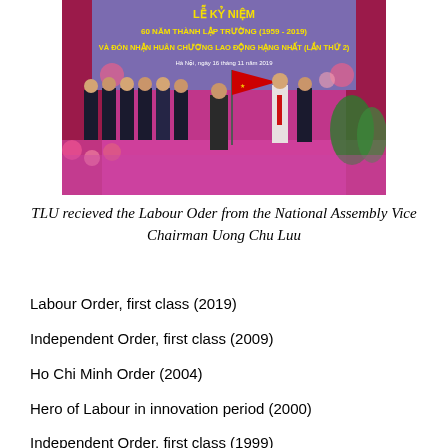[Figure (photo): A ceremony photo showing a group of officials on a decorated stage with a banner reading 'LỄ KỶ NIỆM 60 NĂM THÀNH LẬP TRƯỜNG (1959-2019) VÀ ĐÓN NHẬN HUÂN CHƯƠNG LAO ĐỘNG HẠNG NHẤT (LẦN THỨ 2)', Ha Noi, November 16, 2019. A person is presenting a red flag to another person on stage.]
TLU recieved the Labour Oder from the National Assembly Vice Chairman Uong Chu Luu
Labour Order, first class (2019)
Independent Order, first class (2009)
Ho Chi Minh Order (2004)
Hero of Labour in innovation period (2000)
Independent Order, first class (1999)